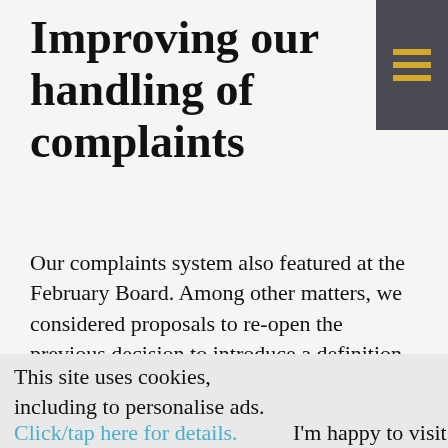Improving our handling of complaints
Our complaints system also featured at the February Board. Among other matters, we considered proposals to re-open the previous decision to introduce a definition of membership. This proposal was rejected
This site uses cookies, including to personalise ads.
Click/tap here for details.
I'm happy to visit site